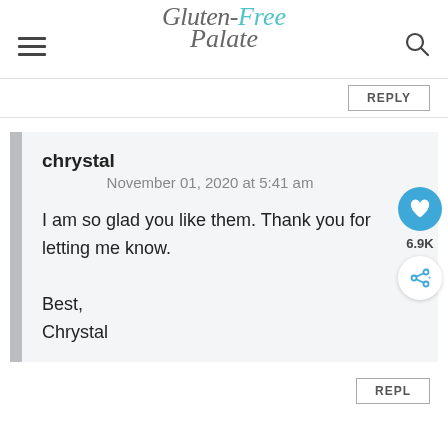Gluten-Free Palate
REPLY
chrystal
November 01, 2020 at 5:41 am
I am so glad you like them. Thank you for letting me know.

Best,
Chrystal